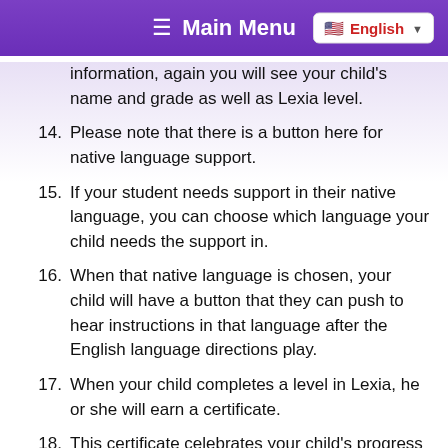Main Menu  English
information, again you will see your child's name and grade as well as Lexia level.
14. Please note that there is a button here for native language support.
15. If your student needs support in their native language, you can choose which language your child needs the support in.
16. When that native language is chosen, your child will have a button that they can push to hear instructions in that language after the English language directions play.
17. When your child completes a level in Lexia, he or she will earn a certificate.
18. This certificate celebrates your child's progress and also gives families useful information.
19. You will see “I Can” statements that tell you